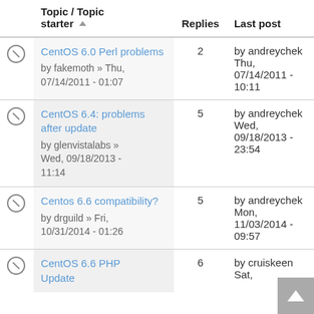|  | Topic / Topic starter ▲ | Replies | Last post |
| --- | --- | --- | --- |
| 🚫 | CentOS 6.0 Perl problems
by fakemoth » Thu, 07/14/2011 - 01:07 | 2 | by andreychek
Thu, 07/14/2011 - 10:11 |
| 🚫 | CentOS 6.4: problems after update
by glenvistalabs » Wed, 09/18/2013 - 11:14 | 5 | by andreychek
Wed, 09/18/2013 - 23:54 |
| 🚫 | Centos 6.6 compatibility?
by drguild » Fri, 10/31/2014 - 01:26 | 5 | by andreychek
Mon, 11/03/2014 - 09:57 |
| 🚫 | CentOS 6.6 PHP Update | 6 | by cruiskeen
Sat, |